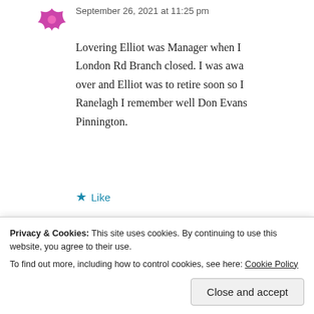September 26, 2021 at 11:25 pm
Lovering Elliot was Manager when London Rd Branch closed. I was awa over and Elliot was to retire soon so Ranelagh I remember well Don Evans Pinnington.
Like
John Hough says:
March 15, 2022 at 8:19 pm
I remember them all as I worked in th
Privacy & Cookies: This site uses cookies. By continuing to use this website, you agree to their use. To find out more, including how to control cookies, see here: Cookie Policy
Close and accept